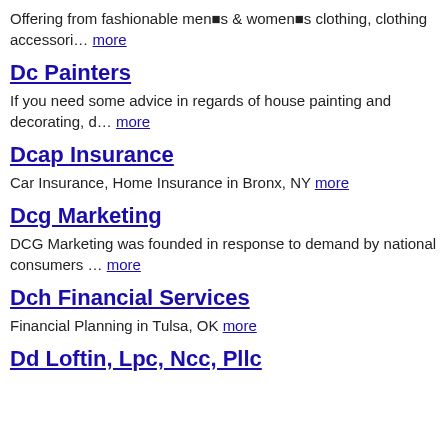Offering from fashionable men�s & women�s clothing, clothing accessori… more
Dc Painters
If you need some advice in regards of house painting and decorating, d… more
Dcap Insurance
Car Insurance, Home Insurance in Bronx, NY more
Dcg Marketing
DCG Marketing was founded in response to demand by national consumers … more
Dch Financial Services
Financial Planning in Tulsa, OK more
Dd Loftin, Lpc, Ncc, Pllc